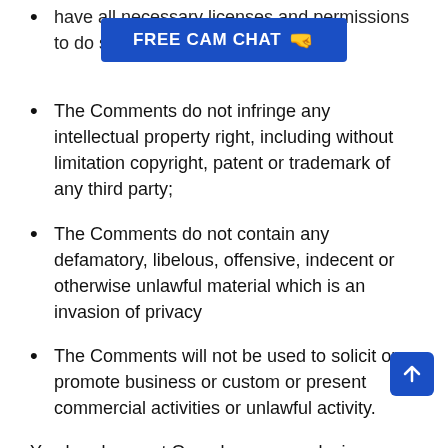have all necessary licenses and permissions to do so;
[Figure (other): Blue banner advertisement reading 'FREE CAM CHAT' with a pointing hand emoji]
The Comments do not infringe any intellectual property right, including without limitation copyright, patent or trademark of any third party;
The Comments do not contain any defamatory, libelous, offensive, indecent or otherwise unlawful material which is an invasion of privacy
The Comments will not be used to solicit or promote business or custom or present commercial activities or unlawful activity.
You hereby grant Omegle a non-exclusive license to use, reproduce, edit and authorize others to use, reproduce and edit any of your Comments in any and all forms, formats or media.
Hyperlinking to our Content